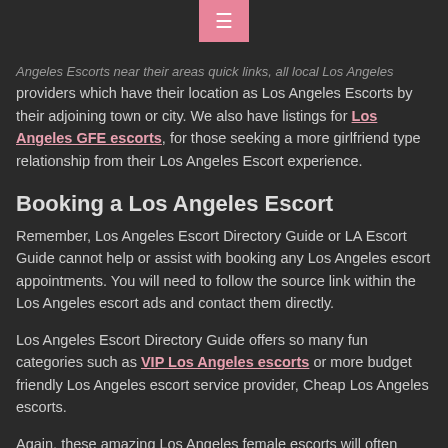☰ (menu button)
providers which have their location as Los Angeles Escorts by their adjoining town or city. We also have listings for Los Angeles GFE escorts, for those seeking a more girlfriend type relationship from their Los Angeles Escort experience.
Booking a Los Angeles Escort
Remember, Los Angeles Escort Directory Guide or LA Escort Guide cannot help or assist with booking any Los Angeles escort appointments. You will need to follow the source link within the Los Angeles escort ads and contact them directly.
Los Angeles Escort Directory Guide offers so many fun categories such as VIP Los Angeles escorts or more budget friendly Los Angeles escort service provider, Cheap Los Angeles escorts.
Again, these amazing Los Angeles female escorts will often travel other areas within the surrounding Los Angeles city limits to assist with serving escort client hobbyist that don't get the opportunity to make it directly into the Los Angeles due time restraints or distance, therefore, check other surrounding areas possibly